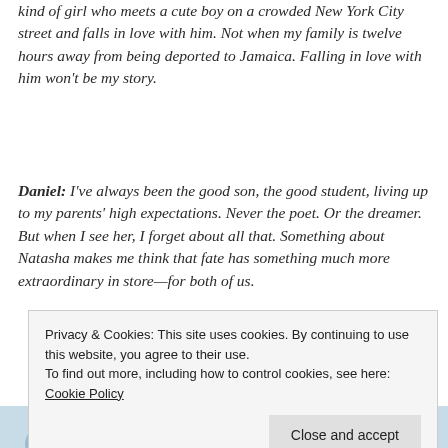kind of girl who meets a cute boy on a crowded New York City street and falls in love with him. Not when my family is twelve hours away from being deported to Jamaica. Falling in love with him won't be my story.
Daniel: I've always been the good son, the good student, living up to my parents' high expectations. Never the poet. Or the dreamer. But when I see her, I forget about all that. Something about Natasha makes me think that fate has something much more extraordinary in store—for both of us.
The Universe: Every moment in our lives has brought us to this single moment. A million futures lie before us. Which one will come true?
Privacy & Cookies: This site uses cookies. By continuing to use this website, you agree to their use. To find out more, including how to control cookies, see here: Cookie Policy Close and accept
[Figure (illustration): Bottom strip showing illustrated book cover figures with blue tones]